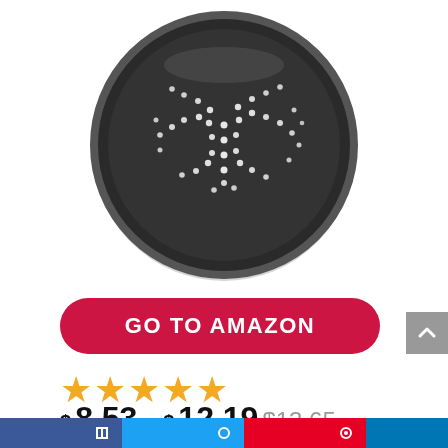[Figure (photo): A dark non-stick perforated round pizza pan viewed from above, showing a pattern of small white holes against a dark gray/black surface with a raised rim.]
GO TO AMAZON
★★★★★
$8.53–$12.19 $13.65